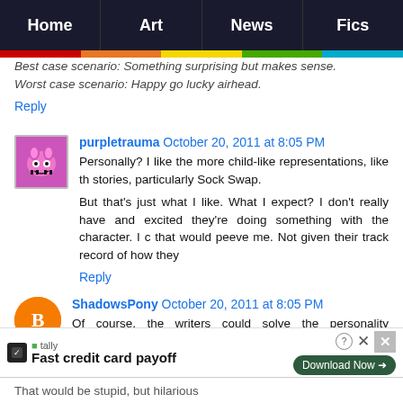Home | Art | News | Fics
Best case scenario: Something surprising but makes sense.
Worst case scenario: Happy go lucky airhead.
Reply
purpletrauma   October 20, 2011 at 8:05 PM
Personally? I like the more child-like representations, like those stories, particularly Sock Swap.

But that's just what I like. What I expect? I don't really have and excited they're doing something with the character. I c that would peeve me. Not given their track record of how they
Reply
ShadowsPony   October 20, 2011 at 8:05 PM
Of course, the writers could solve the personality PERSONALITIES! Make her bipolar to the extreme!
[Figure (infographic): Advertisement banner: Tally app — Fast credit card payoff, with a Download Now button and close icons]
That would be stupid, but hilarious